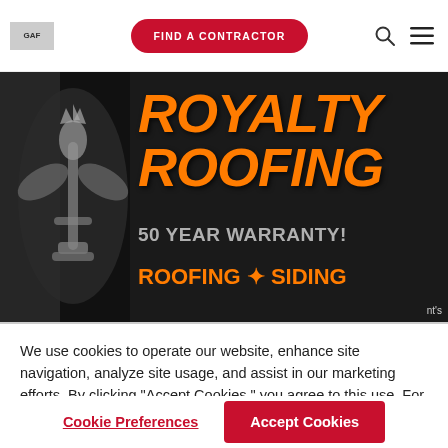GAF logo | FIND A CONTRACTOR | Search | Menu
[Figure (photo): Royalty Roofing advertisement banner on black background. Large orange italic text reads ROYALTY ROOFING. Below: 50 YEAR WARRANTY! in silver/grey. Below: ROOFING + SIDING in orange. Decorative silver fleur-de-lis on left side.]
We use cookies to operate our website, enhance site navigation, analyze site usage, and assist in our marketing efforts. By clicking "Accept Cookies," you agree to this use. For more information please visit our Cookie Notice.
Cookie Preferences
Accept Cookies